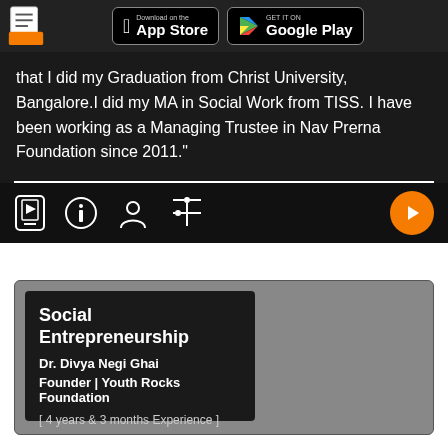[Figure (screenshot): Mobile app header with document icon, Download on the App Store button, and GET IT ON Google Play button on dark background]
that I did my Graduation from Christ University, Bangalore.I did my MA in Social Work from TISS. I have been working as a Managing Trustee in Nav Prerna Foundation since 2011."
[Figure (screenshot): Dark toolbar with mobile, info, person, and settings icons on left and orange play button on right]
Social Entrepreneurship
Dr. Divya Negi Ghai
Founder | Youth Rocks Foundation
[ 4 years & 3 months Experience ]